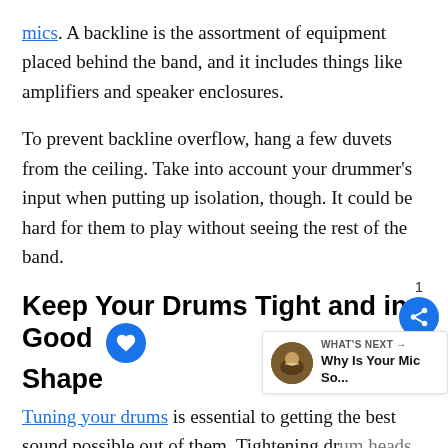mics. A backline is the assortment of equipment placed behind the band, and it includes things like amplifiers and speaker enclosures.
To prevent backline overflow, hang a few duvets from the ceiling. Take into account your drummer's input when putting up isolation, though. It could be hard for them to play without seeing the rest of the band.
Keep Your Drums Tight and in Good Shape
Tuning your drums is essential to getting the best sound possible out of them. Tightening dr... pretty complex job, though, and it's going to take a bit of time and patience to do it properly.